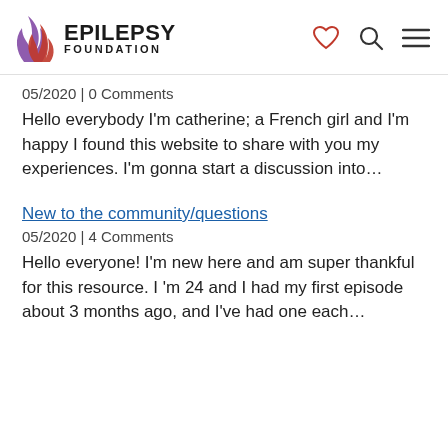EPILEPSY FOUNDATION
05/2020 | 0 Comments
Hello everybody I'm catherine; a French girl and I'm happy I found this website to share with you my experiences. I'm gonna start a discussion into…
New to the community/questions
05/2020 | 4 Comments
Hello everyone! I'm new here and am super thankful for this resource. I 'm 24 and I had my first episode about 3 months ago, and I've had one each…